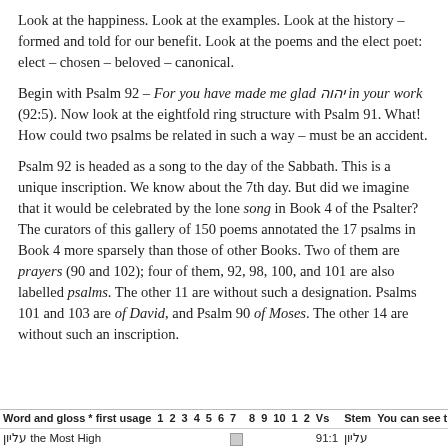Look at the happiness. Look at the examples. Look at the history – formed and told for our benefit. Look at the poems and the elect poet: elect – chosen – beloved – canonical.
Begin with Psalm 92 – For you have made me glad יהוה in your work (92:5). Now look at the eightfold ring structure with Psalm 91. What! How could two psalms be related in such a way – must be an accident.
Psalm 92 is headed as a song to the day of the Sabbath. This is a unique inscription. We know about the 7th day. But did we imagine that it would be celebrated by the lone song in Book 4 of the Psalter? The curators of this gallery of 150 poems annotated the 17 psalms in Book 4 more sparsely than those of other Books. Two of them are prayers (90 and 102); four of them, 92, 98, 100, and 101 are also labelled psalms. The other 11 are without such a designation. Psalms 101 and 103 are of David, and Psalm 90 of Moses. The other 14 are without such an inscription.
| Word and gloss * first usage | 1 | 2 | 3 | 4 | 5 | 6 | 7 | 8 | 9 | 10 | 1 | 2 | Vs | Stem | You can see the ring |
| --- | --- | --- | --- | --- | --- | --- | --- | --- | --- | --- | --- | --- | --- | --- | --- |
| עליון the Most High |  |  |  |  |  |  |  |  |  |  |  |  | 91:1 | עליון |  |